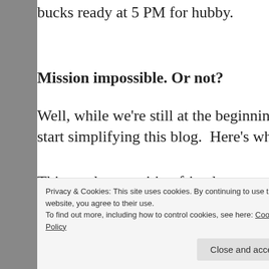bucks ready at 5 PM for hubby.
Mission impossible. Or not?
Well, while we're still at the beginning of th... start simplifying this blog.  Here's why.
This week my writing friends sat me down a... blog posts were too long.  "Fit for a magazin... compliment meant to salve the critique that ... "Your long posts are scaring off readers."  B... ...at
Privacy & Cookies: This site uses cookies. By continuing to use this website, you agree to their use.
To find out more, including how to control cookies, see here: Cookie Policy
Close and accept